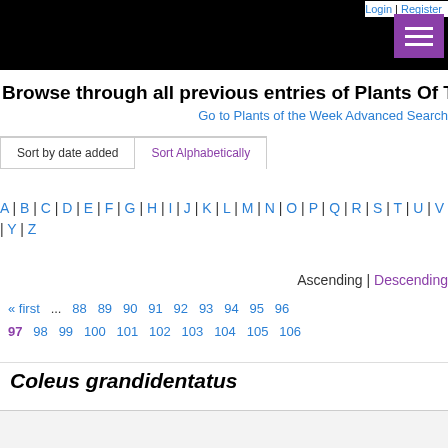Login | Register
Browse through all previous entries of Plants Of The Week
Go to Plants of the Week Advanced Search
Sort by date added | Sort Alphabetically
A | B | C | D | E | F | G | H | I | J | K | L | M | N | O | P | Q | R | S | T | U | V | W | X | Y | Z
Ascending | Descending
« first ... 88 89 90 91 92 93 94 95 96 97 98 99 100 101 102 103 104 105 106
Coleus grandidentatus